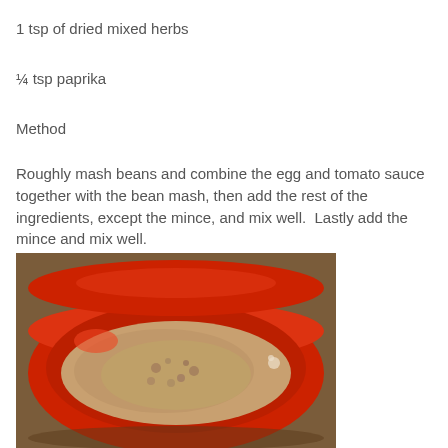1 tsp of dried mixed herbs
¼ tsp paprika
Method
Roughly mash beans and combine the egg and tomato sauce together with the bean mash, then add the rest of the ingredients, except the mince, and mix well.  Lastly add the mince and mix well.
[Figure (photo): A red bowl containing a mashed bean and mince mixture being prepared]